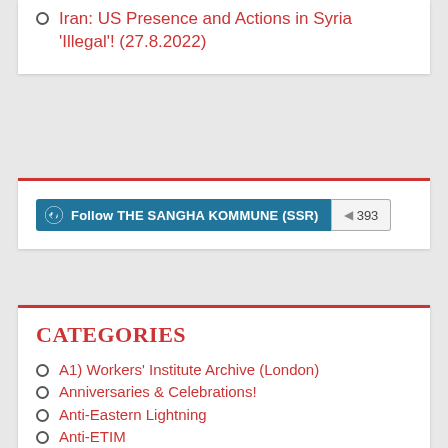Iran: US Presence and Actions in Syria 'Illegal'! (27.8.2022)
[Figure (other): WordPress Follow button for THE SANGHA KOMMUNE (SSR) with follower count 393]
CATEGORIES
A1) Workers' Institute Archive (London)
Anniversaries & Celebrations!
Anti-Eastern Lightning
Anti-ETIM
Anti-Falun Gong Cult
Anti-Lingling Sect
Anti-Pro Tibetan Movement